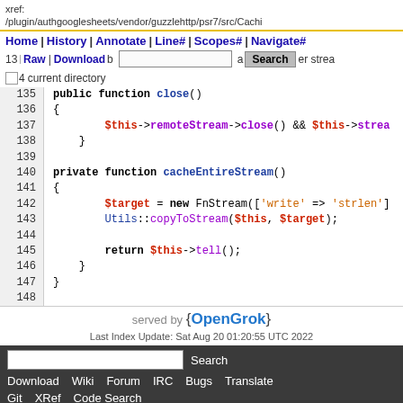xref: /plugin/authgooglesheets/vendor/guzzlehttp/psr7/src/Cachi
Home | History | Annotate | Line# | Scopes# | Navigate#
13 Raw | Download b ... Search er strea
4 current directory
135  public function close()
136  {
137      $this->remoteStream->close() && $this->strea
138  }
139
140  private function cacheEntireStream()
141  {
142      $target = new FnStream(['write' => 'strlen']
143      Utils::copyToStream($this, $target);
144
145      return $this->tell();
146  }
147 }
148
served by {OpenGrok}
Last Index Update: Sat Aug 20 01:20:55 UTC 2022
Search | Download  Wiki  Forum  IRC  Bugs  Translate  Git  XRef  Code Search